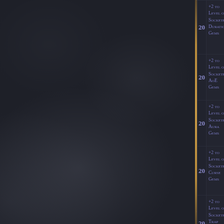| Value | Description |  |
| --- | --- | --- |
| 20 | +2 to Level of Socketed Duration Gems |  |
| 20 | +2 to Level of Socketed AoE Gems |  |
| 20 | +2 to Level of Socketed Aura Gems |  |
| 20 | +2 to Level of Socketed Curse Gems |  |
| 20 | +2 to Level of Socketed Trap or Mine Gems |  |
| 20 | +2 to Level of Socketed |  |